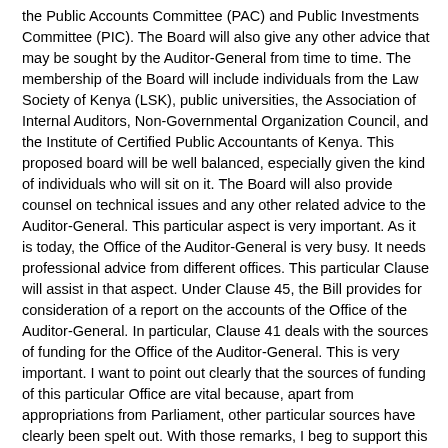the Public Accounts Committee (PAC) and Public Investments Committee (PIC). The Board will also give any other advice that may be sought by the Auditor-General from time to time. The membership of the Board will include individuals from the Law Society of Kenya (LSK), public universities, the Association of Internal Auditors, Non-Governmental Organization Council, and the Institute of Certified Public Accountants of Kenya. This proposed board will be well balanced, especially given the kind of individuals who will sit on it. The Board will also provide counsel on technical issues and any other related advice to the Auditor-General. This particular aspect is very important. As it is today, the Office of the Auditor-General is very busy. It needs professional advice from different offices. This particular Clause will assist in that aspect. Under Clause 45, the Bill provides for consideration of a report on the accounts of the Office of the Auditor-General. In particular, Clause 41 deals with the sources of funding for the Office of the Auditor-General. This is very important. I want to point out clearly that the sources of funding of this particular Office are vital because, apart from appropriations from Parliament, other particular sources have clearly been spelt out. With those remarks, I beg to support this very important Bill.